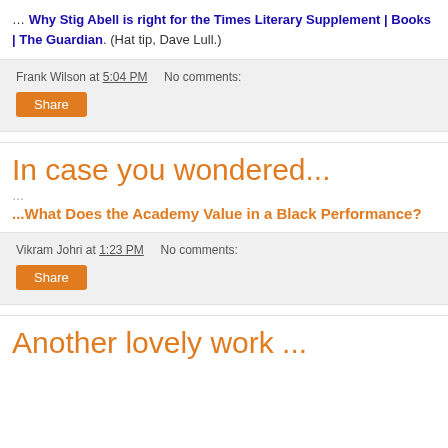… Why Stig Abell is right for the Times Literary Supplement | Books | The Guardian. (Hat tip, Dave Lull.)
Frank Wilson at 5:04 PM   No comments:
Share
In case you wondered...
…
...What Does the Academy Value in a Black Performance?
Vikram Johri at 1:23 PM   No comments:
Share
Another lovely work ...